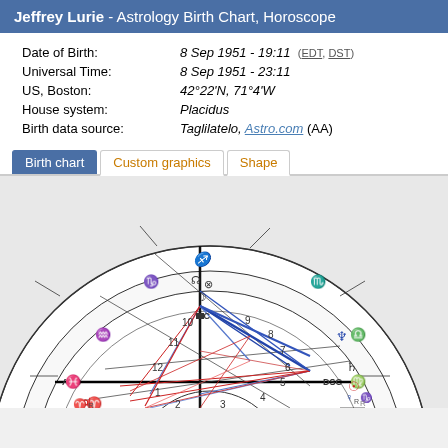Jeffrey Lurie - Astrology Birth Chart, Horoscope
| Date of Birth: | 8 Sep 1951 - 19:11 (EDT, DST) |
| Universal Time: | 8 Sep 1951 - 23:11 |
| US, Boston: | 42°22'N, 71°4'W |
| House system: | Placidus |
| Birth data source: | Taglilatelo, Astro.com (AA) |
Birth chart | Custom graphics | Shape
[Figure (other): Astrological birth chart wheel for Jeffrey Lurie, showing zodiac signs, house numbers, planetary positions, and aspect lines (blue and red) inside a circular chart. Visible elements include Sagittarius at top, Scorpio upper right, Libra right, Virgo lower right, Pisces left, Aquarius upper left, with house numbers 1-12, MC, ASC, DSC labels, and planetary symbols including Sun, Moon, Jupiter, Saturn, Neptune, and others with aspect lines connecting them.]